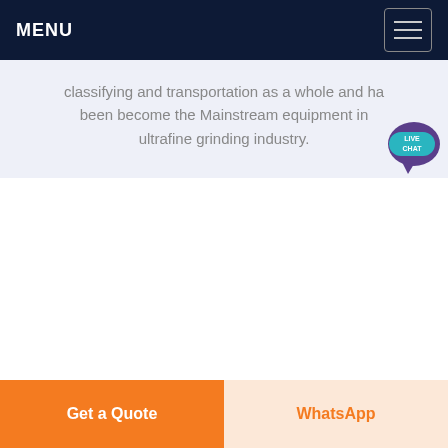MENU
classifying and transportation as a whole and has been become the Mainstream equipment in ultrafine grinding industry.
[Figure (illustration): Live Chat speech bubble icon with purple chat bubble and teal LIVE CHAT label]
Get a Quote
WhatsApp